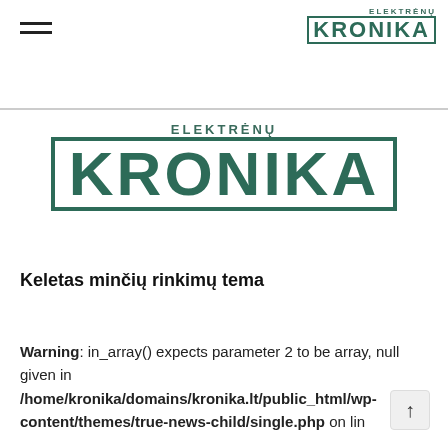Elektrėnų KRONIKA
[Figure (logo): Elektrėnų KRONIKA large masthead logo in teal/dark green collegiate style lettering]
Keletas minčių rinkimų tema
Warning: in_array() expects parameter 2 to be array, null given in /home/kronika/domains/kronika.lt/public_html/wp-content/themes/true-news-child/single.php on lin